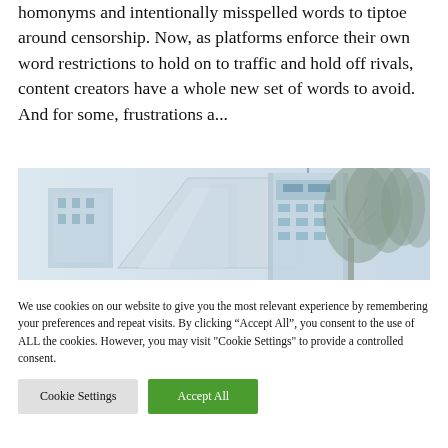homonyms and intentionally misspelled words to tiptoe around censorship. Now, as platforms enforce their own word restrictions to hold on to traffic and hold off rivals, content creators have a whole new set of words to avoid. And for some, frustrations a...
[Figure (photo): Photograph of a building with a sign and trees in a wintry setting, rendered in a light gray/blue tone.]
We use cookies on our website to give you the most relevant experience by remembering your preferences and repeat visits. By clicking "Accept All", you consent to the use of ALL the cookies. However, you may visit "Cookie Settings" to provide a controlled consent.